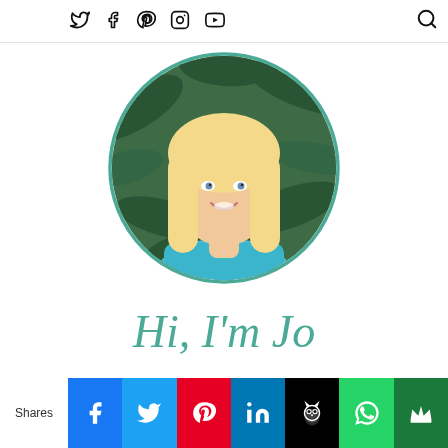Social media icons: Twitter, Facebook, Pinterest, Instagram, YouTube, Search
[Figure (photo): Circular profile photo of a blonde woman smiling, wearing a teal/blue top, with green foliage in the background. Framed in a teal/green circle border.]
Hi, I'm Jo
Shares | Facebook | Twitter | Pinterest | LinkedIn | Hootsuite | WhatsApp | Crown